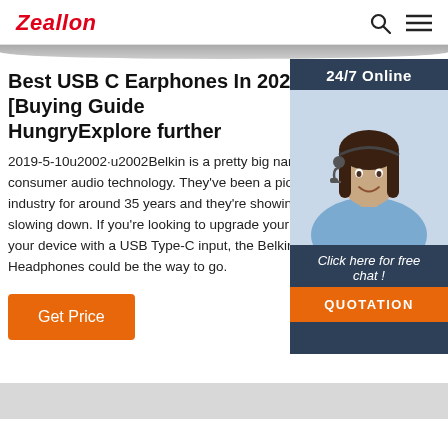Zeallon
Best USB C Earphones In 2021 [Buying Guide] HungryExplore further
2019-5-10u2002·u2002Belkin is a pretty big name in consumer audio technology. They've been a pioneer in the industry for around 35 years and they're showing no signs of slowing down. If you're looking to upgrade your earphones for your device with a USB Type-C input, the Belkin in-ear USB-C Headphones could be the way to go.
Get Price
[Figure (photo): Customer service agent photo with 24/7 Online label, Click here for free chat text, and QUOTATION orange button on dark blue sidebar]